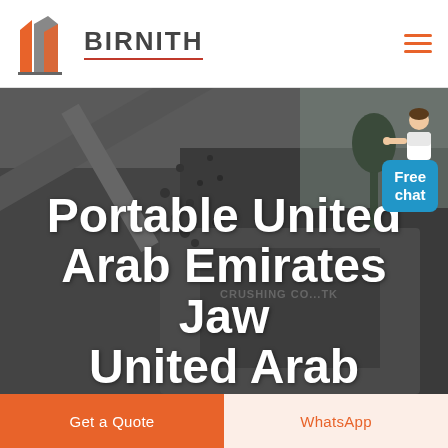[Figure (logo): Birnith company logo with orange and grey building/construction icon and brand name BIRNITH with red underline]
[Figure (photo): Background photo of heavy industrial crushing machinery/jaw crusher in operation with rocks/gravel falling, dark moody industrial setting]
Portable United Arab Emirates Jaw United Arab Emirates For Hire
[Figure (illustration): Free chat widget showing a customer service representative and a blue chat bubble with text 'Free chat']
Get a Quote
WhatsApp